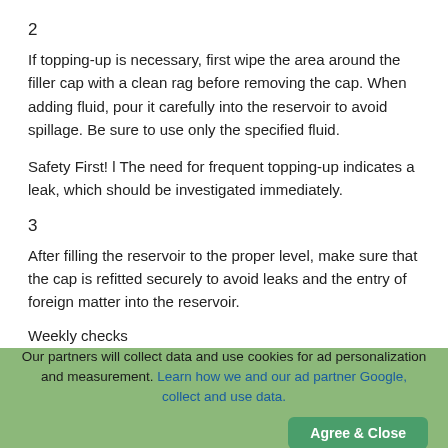2
If topping-up is necessary, first wipe the area around the filler cap with a clean rag before removing the cap. When adding fluid, pour it carefully into the reservoir to avoid spillage. Be sure to use only the specified fluid.
Safety First! l The need for frequent topping-up indicates a leak, which should be investigated immediately.
3
After filling the reservoir to the proper level, make sure that the cap is refitted securely to avoid leaks and the entry of foreign matter into the reservoir.
Weekly checks
Our partners will collect data and use cookies for ad personalization and measurement. Learn how we and our ad partner Google, collect and use data.